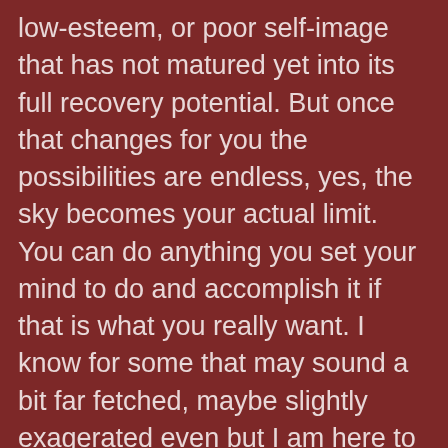low-esteem, or poor self-image that has not matured yet into its full recovery potential. But once that changes for you the possibilities are endless, yes, the sky becomes your actual limit.
You can do anything you set your mind to do and accomplish it if that is what you really want. I know for some that may sound a bit far fetched, maybe slightly exagerated even but I am here to tell you it's real. I am explaining this as I am learning it because I for the first time ever in my life am experiencing it first hand. It is not coming from another persons mouth at an AA meeting, or from a speaker at an event somewhere.